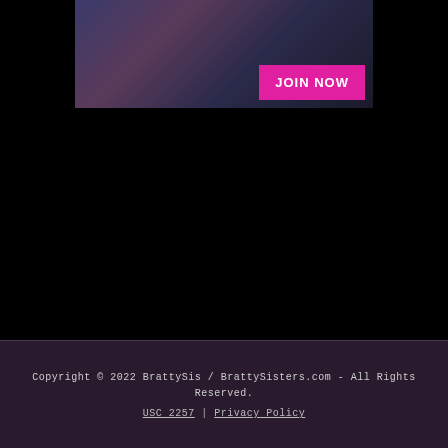[Figure (photo): Banner image with JOIN NOW button in magenta/pink on a dark background]
Copyright © 2022 BrattySis / BrattySisters.com - All Rights Reserved.
USC 2257 | Privacy Policy